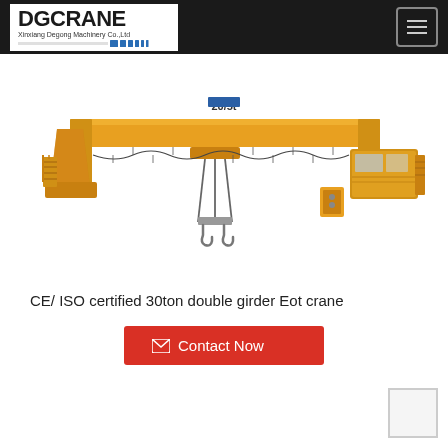DGCRANE — Xinxiang Degong Machinery Co.,Ltd
[Figure (photo): Yellow double girder EOT overhead crane with two hooks, labeled '20/5t', showing the bridge girder, trolley, wire ropes, and end carriage with operator pendant. Photographed from a side perspective on white background.]
CE/ ISO certified 30ton double girder Eot crane